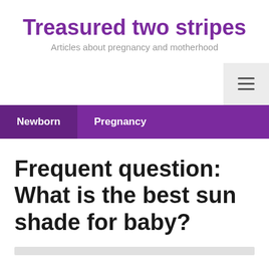Treasured two stripes
Articles about pregnancy and motherhood
Newborn  Pregnancy
Frequent question: What is the best sun shade for baby?